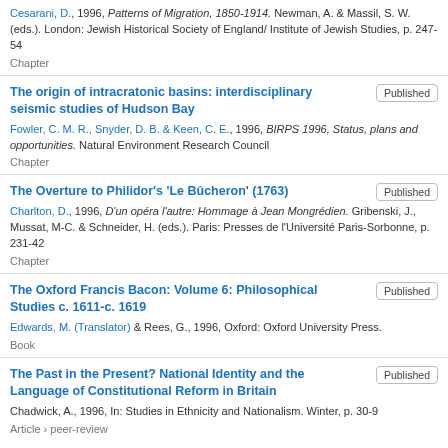Cesarani, D., 1996, Patterns of Migration, 1850-1914. Newman, A. & Massil, S. W. (eds.). London: Jewish Historical Society of England/ Institute of Jewish Studies, p. 247-54
Chapter
The origin of intracratonic basins: interdisciplinary seismic studies of Hudson Bay
Fowler, C. M. R., Snyder, D. B. & Keen, C. E., 1996, BIRPS 1996, Status, plans and opportunities. Natural Environment Research Council
Chapter
Published
The Overture to Philidor's 'Le Bûcheron' (1763)
Charlton, D., 1996, D'un opéra l'autre: Hommage à Jean Mongrédien. Gribenski, J., Mussat, M-C. & Schneider, H. (eds.). Paris: Presses de l'Université Paris-Sorbonne, p. 231-42
Chapter
Published
The Oxford Francis Bacon: Volume 6: Philosophical Studies c. 1611-c. 1619
Edwards, M. (Translator) & Rees, G., 1996, Oxford: Oxford University Press.
Book
Published
The Past in the Present? National Identity and the Language of Constitutional Reform in Britain
Chadwick, A., 1996, In: Studies in Ethnicity and Nationalism. Winter, p. 30-9
Article › peer-review
Published